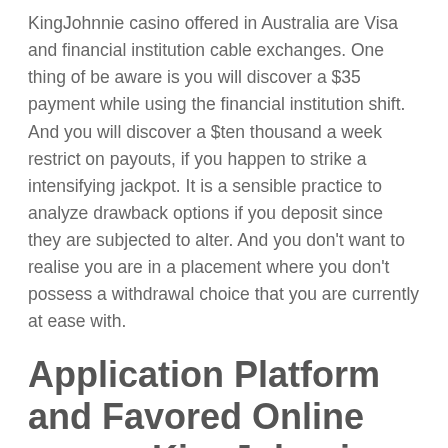KingJohnnie casino offered in Australia are Visa and financial institution cable exchanges. One thing of be aware is you will discover a $35 payment while using the financial institution shift. And you will discover a $ten thousand a week restrict on payouts, if you happen to strike a intensifying jackpot. It is a sensible practice to analyze drawback options if you deposit since they are subjected to alter. And you don't want to realise you are in a placement where you don't possess a withdrawal choice that you are currently at ease with.
Application Platform and Favored Online games KingJohnnie On line casino
The gambling establishment portal seems within a neatly presented dash panel which is not only useful, and also visually satisfying. The platform's user interface deviates